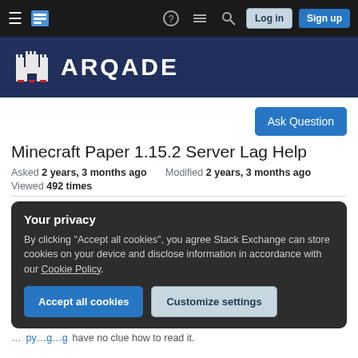Arqade navigation bar with hamburger menu, logo, help, feedback, search, Log in, Sign up buttons
[Figure (screenshot): Arqade site logo banner with castle icon and 'ARQADE' text on dark blue striped background]
Ask Question
Minecraft Paper 1.15.2 Server Lag Help
Asked 2 years, 3 months ago   Modified 2 years, 3 months ago
Viewed 492 times
Your privacy
By clicking "Accept all cookies", you agree Stack Exchange can store cookies on your device and disclose information in accordance with our Cookie Policy.
Accept all cookies   Customize settings
have no clue how to read it.